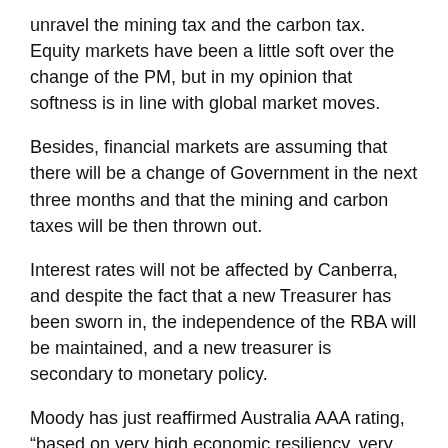unravel the mining tax and the carbon tax. Equity markets have been a little soft over the change of the PM, but in my opinion that softness is in line with global market moves.
Besides, financial markets are assuming that there will be a change of Government in the next three months and that the mining and carbon taxes will be then thrown out.
Interest rates will not be affected by Canberra, and despite the fact that a new Treasurer has been sworn in, the independence of the RBA will be maintained, and a new treasurer is secondary to monetary policy.
Moody has just reaffirmed Australia AAA rating, “based on very high economic resiliency, very high government financial strength, and very low susceptibility to event risk”
So in summary, while there has been some activity in Government circles over the past week, markets have continued in their own direction and have, in the whole, ignored events in the Capital. And so they